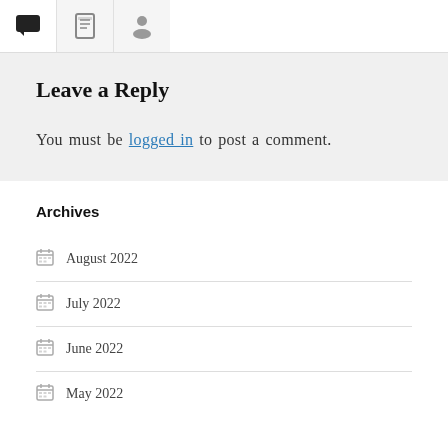[Tab bar with comment, list, and user icons]
Leave a Reply
You must be logged in to post a comment.
Archives
August 2022
July 2022
June 2022
May 2022